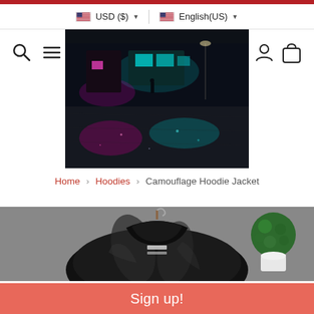USD ($) | English(US)
[Figure (photo): Night street scene with colorful neon light reflections on wet pavement]
[Figure (infographic): Search icon and hamburger menu icon on left; person/account icon and shopping bag icon on right]
Home > Hoodies > Camouflage Hoodie Jacket
[Figure (photo): Black shiny hoodie jacket on a wooden hanger against grey textured wall with small green topiary plant]
Sign up!